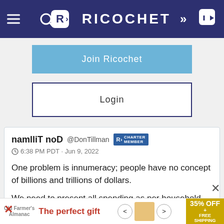RICOCHET
Join Ricochet
Login
namlliT noD @DonTillman CHARTER MEMBER
6:38 PM PDT · Jun 9, 2022

One problem is innumeracy; people have no concept of billions and trillions of dollars.

We need to present all spending as per household. With about 123.6 million households in the US, the recent $54 billion going to Ukraine, for example,
[Figure (screenshot): Advertisement banner: 'The perfect gift' with navigation arrows, food image, and '35% OFF + FREE SHIPPING' badge]